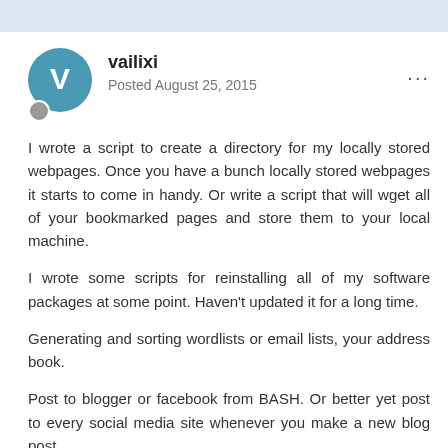vailixi
Posted August 25, 2015
I wrote a script to create a directory for my locally stored webpages. Once you have a bunch locally stored webpages it starts to come in handy. Or write a script that will wget all of your bookmarked pages and store them to your local machine.
I wrote some scripts for reinstalling all of my software packages at some point. Haven't updated it for a long time.
Generating and sorting wordlists or email lists, your address book.
Post to blogger or facebook from BASH. Or better yet post to every social media site whenever you make a new blog post.
Directory submission scripts.
A script to view random profiles on pof so you can get a date. Or LinkedIn or any site where the user account number shows and